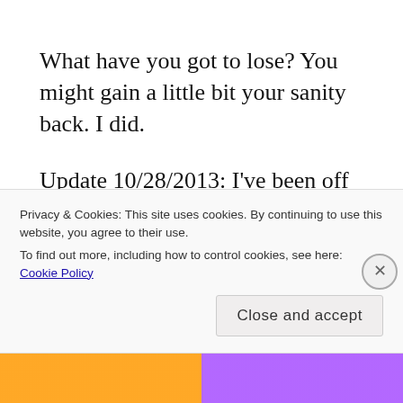What have you got to lose? You might gain a little bit your sanity back. I did.
Update 10/28/2013: I've been off Niacin for almost 6 months now. I slowly cut back and when things got bad I would just take more
Privacy & Cookies: This site uses cookies. By continuing to use this website, you agree to their use.
To find out more, including how to control cookies, see here: Cookie Policy
Close and accept